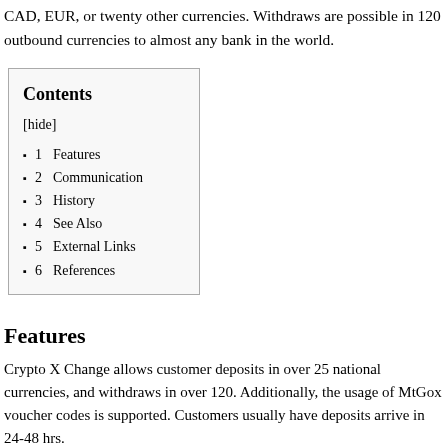CAD, EUR, or twenty other currencies. Withdraws are possible in 120 outbound currencies to almost any bank in the world.
1  Features
2  Communication
3  History
4  See Also
5  External Links
6  References
Features
Crypto X Change allows customer deposits in over 25 national currencies, and withdraws in over 120. Additionally, the usage of MtGox voucher codes is supported. Customers usually have deposits arrive in 24-48 hrs.
Quicker funds are available when depositing cash at certain banks